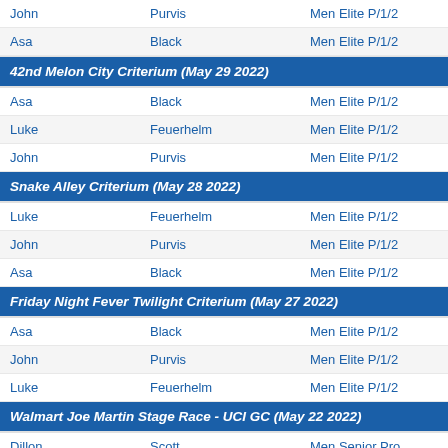| First | Last | Category |
| --- | --- | --- |
| John | Purvis | Men Elite P/1/2 |
| Asa | Black | Men Elite P/1/2 |
42nd Melon City Criterium (May 29 2022)
| First | Last | Category |
| --- | --- | --- |
| Asa | Black | Men Elite P/1/2 |
| Luke | Feuerhelm | Men Elite P/1/2 |
| John | Purvis | Men Elite P/1/2 |
Snake Alley Criterium (May 28 2022)
| First | Last | Category |
| --- | --- | --- |
| Luke | Feuerhelm | Men Elite P/1/2 |
| John | Purvis | Men Elite P/1/2 |
| Asa | Black | Men Elite P/1/2 |
Friday Night Fever Twilight Criterium (May 27 2022)
| First | Last | Category |
| --- | --- | --- |
| Asa | Black | Men Elite P/1/2 |
| John | Purvis | Men Elite P/1/2 |
| Luke | Feuerhelm | Men Elite P/1/2 |
Walmart Joe Martin Stage Race - UCI GC (May 22 2022)
| First | Last | Category |
| --- | --- | --- |
| Dillon | Scott | Men Senior Pro |